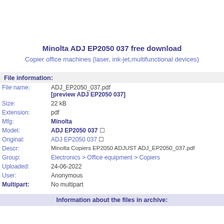Minolta ADJ EP2050 037 free download
Copier office machines (laser, ink-jet,multifunctional devices)
| Field | Value |
| --- | --- |
| File information: |  |
| File name: | ADJ_EP2050_037.pdf [preview ADJ EP2050 037] |
| Size: | 22 kB |
| Extension: | pdf |
| Mfg: | Minolta |
| Model: | ADJ EP2050 037 ☐ |
| Original: | ADJ EP2050 037 ☐ |
| Descr: | Minolta Copiers EP2050 ADJUST ADJ_EP2050_037.pdf |
| Group: | Electronics > Office equipment > Copiers |
| Uploaded: | 24-06-2022 |
| User: | Anonymous |
| Multipart: | No multipart |
Information about the files in archive: